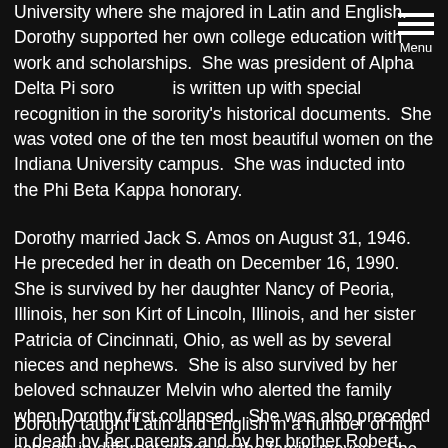University where she majored in Latin and English. Dorothy supported her own college education with work and scholarships. She was president of Alpha Delta Pi sorority and is written up with special recognition in the sorority's historical documents. She was voted one of the ten most beautiful women on the Indiana University campus. She was inducted into the Phi Beta Kappa honorary.
Dorothy married Jack S. Amos on August 31, 1946. He preceded her in death on December 16, 1990. She is survived by her daughter Nancy of Peoria, Illinois, her son Kirt of Lincoln, Illinois, and her sister Patricia of Cincinnati, Ohio, as well as by several nieces and nephews. She is also survived by her beloved schnauzer Melvin who alerted the family when Dorothy first collapsed. She was also preceded in death by her parents and by her brother Robert.
Dorothy taught Latin and English in a number of high schools in different states as the family moved. She taught at Lincoln